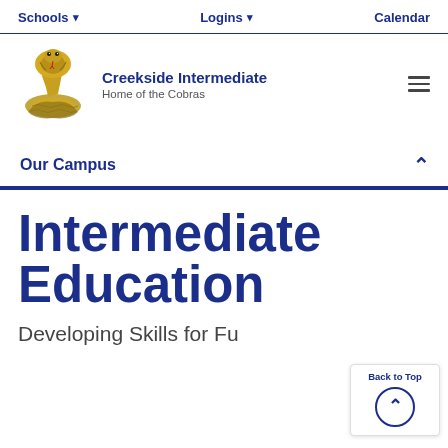Schools ▾   Logins ▾   Calendar
[Figure (logo): Creekside Intermediate cobra mascot logo — gold/black cobra snake illustration]
Creekside Intermediate
Home of the Cobras
Our Campus
Intermediate Education
Developing Skills for Fu…